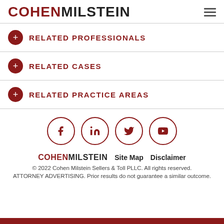COHEN MILSTEIN
+ RELATED PROFESSIONALS
+ RELATED CASES
+ RELATED PRACTICE AREAS
[Figure (logo): Social media icons: Facebook, LinkedIn, Twitter, YouTube — each in a red-outlined circle]
COHENMILSTEIN   Site Map   Disclaimer
© 2022 Cohen Milstein Sellers & Toll PLLC. All rights reserved.
ATTORNEY ADVERTISING. Prior results do not guarantee a similar outcome.